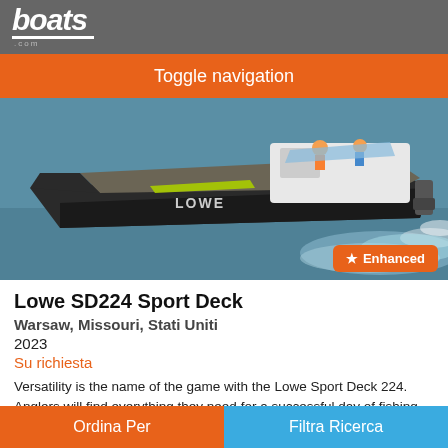boats.com
Toggle navigation
[Figure (photo): Aerial/side view of a Lowe SD224 Sport Deck boat speeding through water with white wake behind it. The boat is dark grey/graphite with green accents and the word LOWE on the side. An outboard motor is visible at the rear.]
Lowe SD224 Sport Deck
Warsaw, Missouri, Stati Uniti
2023
Su richiesta
Versatility is the name of the game with the Lowe Sport Deck 224. Anglers will find everything they need for a successful day of fishing, while watersports fans will enjoy thrilling performance and handling. With the comfort and spaciousness of a pontoon and the agility of a
Ordina Per    Filtra Ricerca